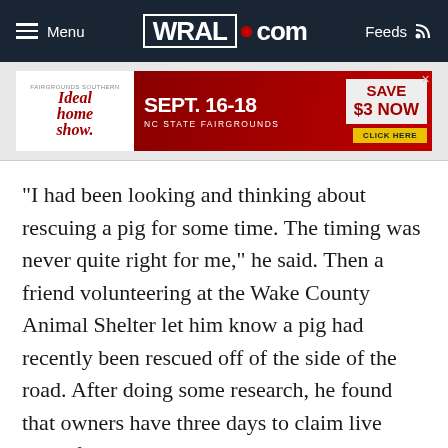Menu | WRAL.com | Feeds
[Figure (infographic): Advertisement banner for Ideal Home Show, Sept. 16-18 at NC State Fairgrounds, Save $3 Now, Click Here]
"I had been looking and thinking about rescuing a pig for some time. The timing was never quite right for me," he said. Then a friend volunteering at the Wake County Animal Shelter let him know a pig had recently been rescued off of the side of the road. After doing some research, he found that owners have three days to claim live stock from the shelter or the animal goes to auction.